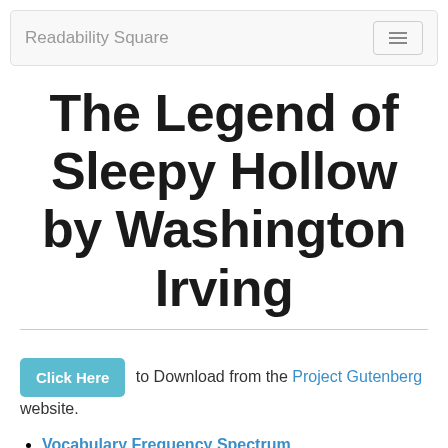Readability Square
The Legend of Sleepy Hollow by Washington Irving
Click Here to Download from the Project Gutenberg website.
Vocabulary Frequency Spectrum
Vocabulary List
Catalog Data